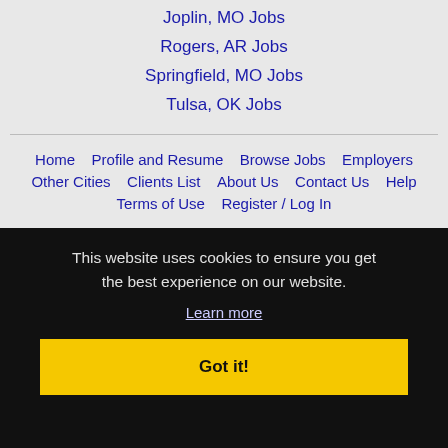Joplin, MO Jobs
Rogers, AR Jobs
Springfield, MO Jobs
Tulsa, OK Jobs
Home | Profile and Resume | Browse Jobs | Employers | Other Cities | Clients List | About Us | Contact Us | Help | Terms of Use | Register / Log In
This website uses cookies to ensure you get the best experience on our website. Learn more Got it!